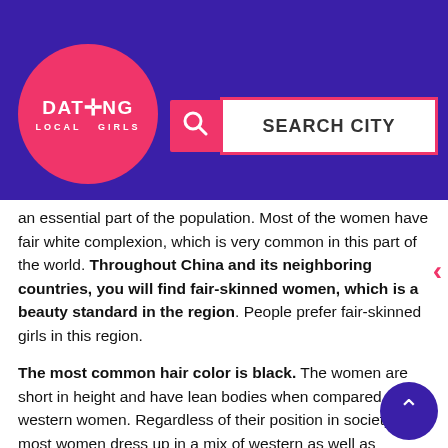EUROPE. ASIA. AMERICAS. AFRICA. OCEANIA.
[Figure (logo): Dating Local Girls website header with pink circle logo, site name 'DATING LOCAL GIRLS', and a pink search bar labeled 'SEARCH CITY']
an essential part of the population. Most of the women have fair white complexion, which is very common in this part of the world. Throughout China and its neighboring countries, you will find fair-skinned women, which is a beauty standard in the region. People prefer fair-skinned girls in this region.
The most common hair color is black. The women are short in height and have lean bodies when compared to western women. Regardless of their position in society, most women dress up in a mix of western as well as traditional Chinese dresses. Traditional dresses are also